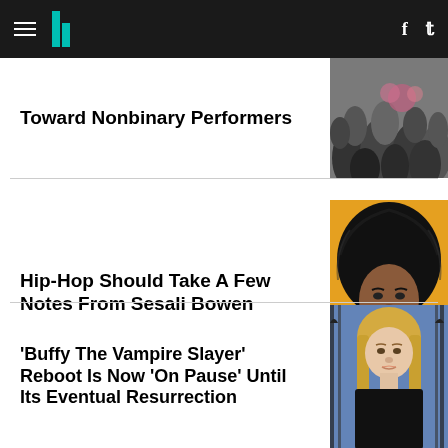HuffPost navigation bar with hamburger menu, logo, Facebook and Twitter icons
Toward Nonbinary Performers
[Figure (photo): Crowd of people at an event, viewed from behind]
Hip-Hop Should Take A Few Notes From Sesali Bowen
[Figure (photo): Black and white portrait of Sesali Bowen on orange background with large natural hair]
'Buffy The Vampire Slayer' Reboot Is Now 'On Pause' Until Its Eventual Resurrection
[Figure (photo): Blonde woman in black top with iron gate and blue sky behind her - Buffy the Vampire Slayer]